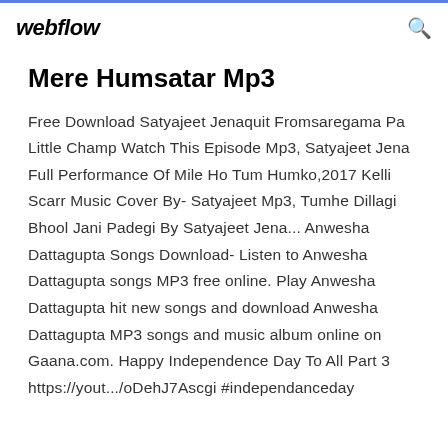webflow
Mere Humsatar Mp3
Free Download Satyajeet Jenaquit Fromsaregama Pa Little Champ Watch This Episode Mp3, Satyajeet Jena Full Performance Of Mile Ho Tum Humko,2017 Kelli Scarr Music Cover By- Satyajeet Mp3, Tumhe Dillagi Bhool Jani Padegi By Satyajeet Jena... Anwesha Dattagupta Songs Download- Listen to Anwesha Dattagupta songs MP3 free online. Play Anwesha Dattagupta hit new songs and download Anwesha Dattagupta MP3 songs and music album online on Gaana.com. Happy Independence Day To All Part 3 https://yout.../oDehJ7Ascgi #independanceday